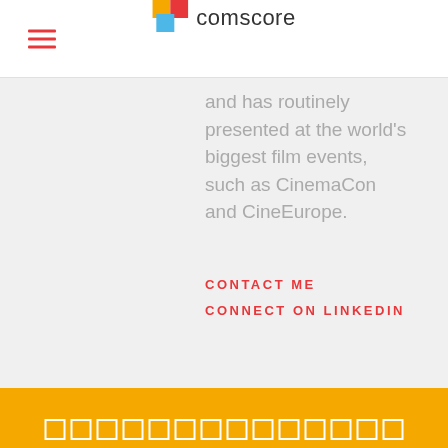comscore
and has routinely presented at the world's biggest film events, such as CinemaCon and CineEurope.
CONTACT ME
CONNECT ON LINKEDIN